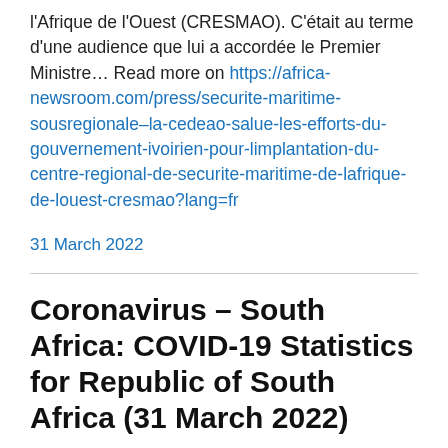l'Afrique de l'Ouest (CRESMAO). C'était au terme d'une audience que lui a accordée le Premier Ministre… Read more on https://africa-newsroom.com/press/securite-maritime-sousregionale–la-cedeao-salue-les-efforts-du-gouvernement-ivoirien-pour-limplantation-du-centre-regional-de-securite-maritime-de-lafrique-de-louest-cresmao?lang=fr
31 March 2022
Coronavirus – South Africa: COVID-19 Statistics for Republic of South Africa (31 March 2022)